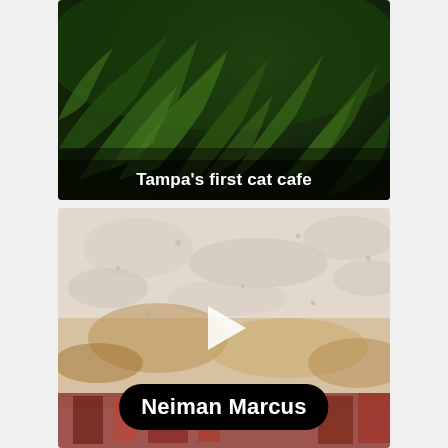[Figure (photo): Photo of green fern leaves with text overlay reading Tampa's first cat cafe]
Tampa's first cat cafe
[Figure (photo): Photo of a whitewashed/worn wall scene with a play button icon and a Neiman Marcus label overlay at the bottom]
Neiman Marcus